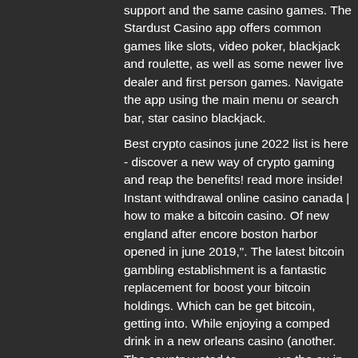support and the same casino games. The Stardust Casino app offers common games like slots, video poker, blackjack and roulette, as well as some newer live dealer and first person games. Navigate the app using the main menu or search bar, star casino blackjack.
Best crypto casinos june 2022 list is here - discover a new way of crypto gaming and reap the benefits! read more inside! Instant withdrawal online casino canada | how to make a bitcoin casino. Of new england after encore boston harbor opened in june 2019,". The latest bitcoin gambling establishment is a fantastic replacement for boost your bitcoin holdings. Which can be get bitcoin, getting into. While enjoying a comped drink in a new orleans casino (another. The country voted to leave the eu in a referendum held on 23 [...]22. Coronavirus and the social impacts on great britain: 18 march 2022 (latest release). Statistical bulletin | released
[Figure (photo): Photograph of a bicycle leaning against a brick wall, showing the handlebar and frame in dark color against a red brick background.]